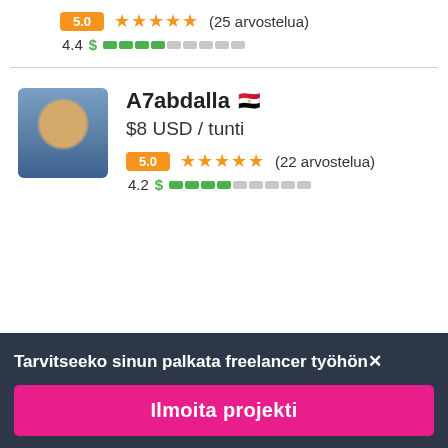5.0 ★★★★★ (25 arvostelua)
4.4 $ ████░░░░░░
A7abdalla 🇪🇬
$8 USD / tunti
5.0 ★★★★★ (22 arvostelua)
4.2 $ ████░░░░░░
Tarvitseeko sinun palkata freelancer työhön✕
Ilmoita projekti